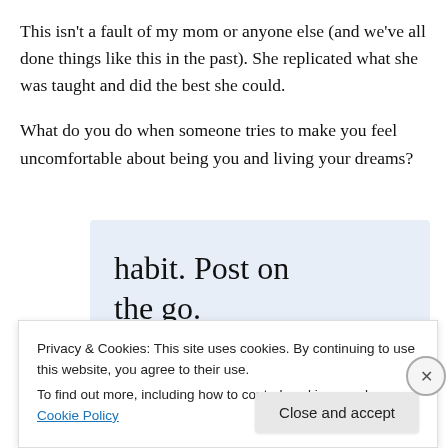This isn't a fault of my mom or anyone else (and we've all done things like this in the past). She replicated what she was taught and did the best she could.
What do you do when someone tries to make you feel uncomfortable about being you and living your dreams?
[Figure (screenshot): WordPress app advertisement showing 'habit. Post on the go.' text with GET THE APP link and WordPress logo icon, light blue background]
Privacy & Cookies: This site uses cookies. By continuing to use this website, you agree to their use.
To find out more, including how to control cookies, see here: Cookie Policy